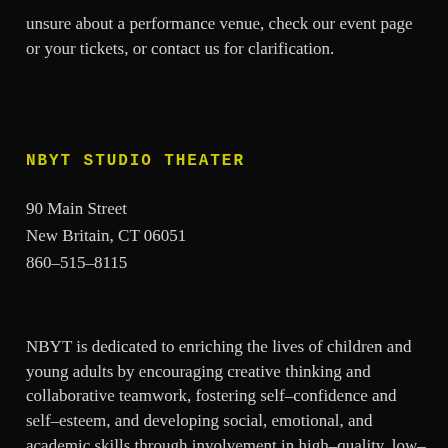unsure about a performance venue, check our event page or your tickets, or contact us for clarification.
NBYT STUDIO THEATER
90 Main Street
New Britain, CT 06051
860-515-8115
NBYT is dedicated to enriching the lives of children and young adults by encouraging creative thinking and collaborative teamwork, fostering self-confidence and self-esteem, and developing social, emotional, and academic skills through involvement in high-quality, low-cost programs in the